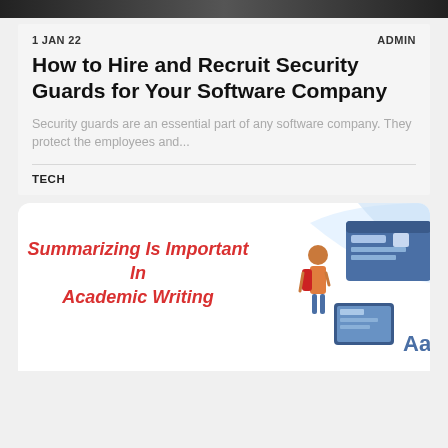[Figure (photo): Dark banner image strip at top of page]
1 JAN 22   ADMIN
How to Hire and Recruit Security Guards for Your Software Company
Security guards are an essential part of any software company. They protect the employees and...
TECH
[Figure (illustration): Second card with red italic title 'Summarizing Is Important In Academic Writing' and illustration of a person with backpack next to browser/device graphics on a white rounded background with light blue curve in top right corner]